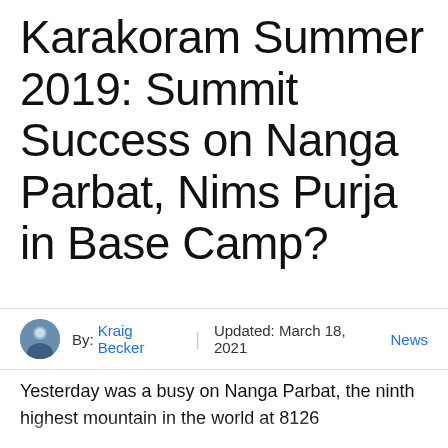Karakoram Summer 2019: Summit Success on Nanga Parbat, Nims Purja in Base Camp?
By: Kraig Becker | Updated: March 18, 2021 News
Yesterday was a busy on Nanga Parbat, the ninth highest mountain in the world at 8126